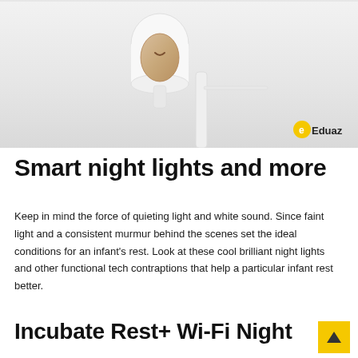[Figure (photo): A smart baby monitor / night light device mounted on a white wall. It has a white body with a wooden teardrop-shaped accent piece featuring a small smiley face. An Eduaz logo watermark appears in the bottom-right corner of the photo.]
Smart night lights and more
Keep in mind the force of quieting light and white sound. Since faint light and a consistent murmur behind the scenes set the ideal conditions for an infant's rest. Look at these cool brilliant night lights and other functional tech contraptions that help a particular infant rest better.
Incubate Rest+ Wi-Fi Night